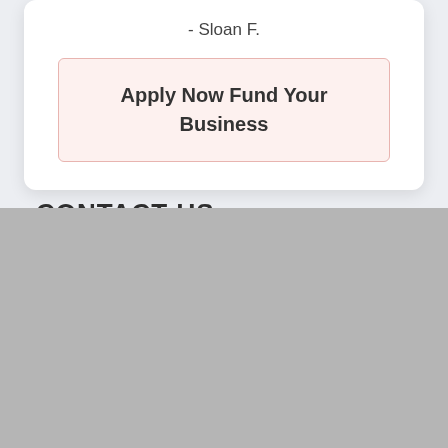- Sloan F.
Apply Now Fund Your Business
CONTACT US
Name
Email